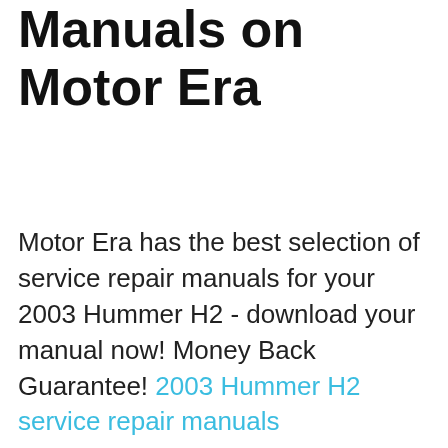Manuals on Motor Era
Motor Era has the best selection of service repair manuals for your 2003 Hummer H2 - download your manual now! Money Back Guarantee! 2003 Hummer H2 service repair manuals